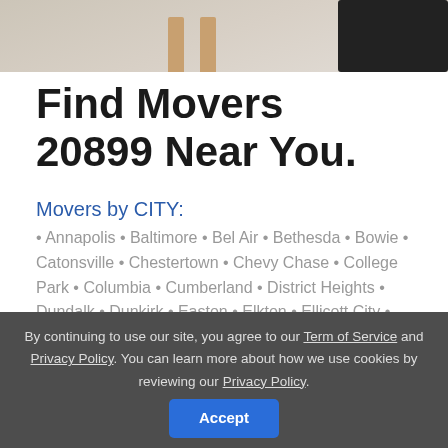[Figure (photo): Partial photo of a room interior with light wood floor and furniture leg visible, dark object at top right]
Find Movers 20899 Near You.
Movers by CITY:
• Annapolis • Baltimore • Bel Air • Bethesda • Bowie • Catonsville • Chestertown • Chevy Chase • College Park • Columbia • Cumberland • District Heights • Dundalk • Dunkirk • Easton • Elkton • Ellicott City • Essex • Fort ...
By continuing to use our site, you agree to our Term of Service and Privacy Policy. You can learn more about how we use cookies by reviewing our Privacy Policy.